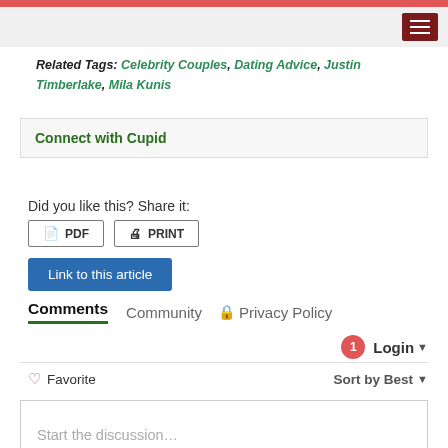Related Tags: Celebrity Couples, Dating Advice, Justin Timberlake, Mila Kunis
Connect with Cupid
Did you like this? Share it:
PDF  PRINT
Link to this article
Comments  Community  Privacy Policy
1  Login
Favorite  Sort by Best
Start the discussion…
LOG IN WITH